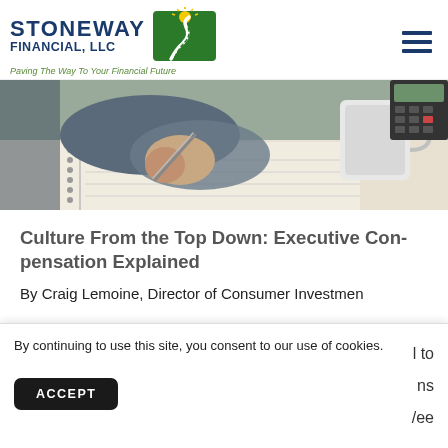STONEWAY FINANCIAL, LLC — Paving The Way To Your Financial Future
[Figure (photo): Close-up photo of a person's hand holding a pen over a spiral notebook, with a white coffee mug and calculator visible in the background on a desk.]
Culture From the Top Down: Executive Compensation Explained
By Craig Lemoine, Director of Consumer Investment
By continuing to use this site, you consent to our use of cookies.
ACCEPT